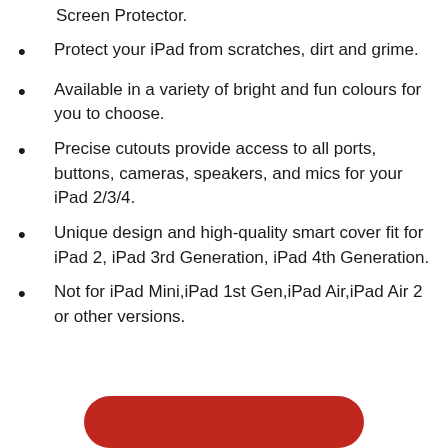Screen Protector.
Protect your iPad from scratches, dirt and grime.
Available in a variety of bright and fun colours for you to choose.
Precise cutouts provide access to all ports, buttons, cameras, speakers, and mics for your iPad 2/3/4.
Unique design and high-quality smart cover fit for iPad 2, iPad 3rd Generation, iPad 4th Generation.
Not for iPad Mini,iPad 1st Gen,iPad Air,iPad Air 2 or other versions.
[Figure (other): Red rounded rectangle button at bottom of page]